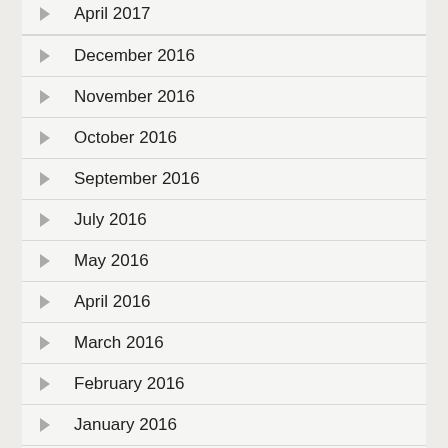April 2017
December 2016
November 2016
October 2016
September 2016
July 2016
May 2016
April 2016
March 2016
February 2016
January 2016
December 2015